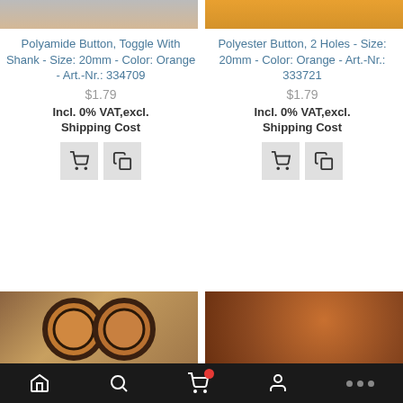[Figure (photo): Top partial product images: left shows dark brown button, right shows orange/yellow button]
Polyamide Button, Toggle With Shank - Size: 20mm - Color: Orange - Art.-Nr.: 334709
$1.79
Incl. 0% VAT,excl. Shipping Cost
Polyester Button, 2 Holes - Size: 20mm - Color: Orange - Art.-Nr.: 333721
$1.79
Incl. 0% VAT,excl. Shipping Cost
[Figure (photo): Bottom partial product images: left shows two dark-ringed orange buttons, right shows brown/orange button]
Navigation bar with home, search, cart (with red badge), account, and more icons